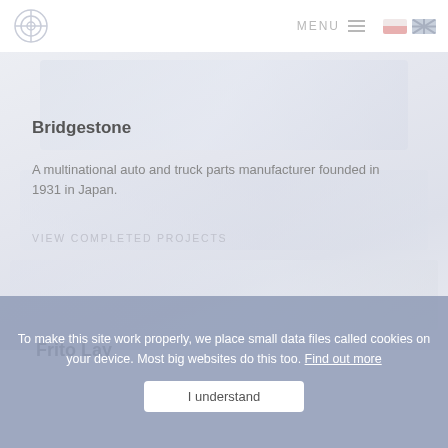MENU (navigation bar with logo, menu, and language flags)
Bridgestone
A multinational auto and truck parts manufacturer founded in 1931 in Japan.
VIEW COMPLETED PROJECTS
Frito Lay
To make this site work properly, we place small data files called cookies on your device. Most big websites do this too. Find out more
I understand